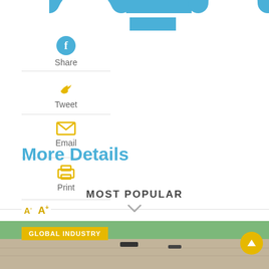[Figure (screenshot): Partial large cyan text letters (GFO) at top of page, cropped]
Share (Facebook share button)
Tweet (Twitter share button)
Email Share button
Print button
More Details
MOST POPULAR
A-  A+
[Figure (photo): Bottom strip showing a dirt/road scene with Global Industry badge in yellow and an up-arrow circular button in yellow.]